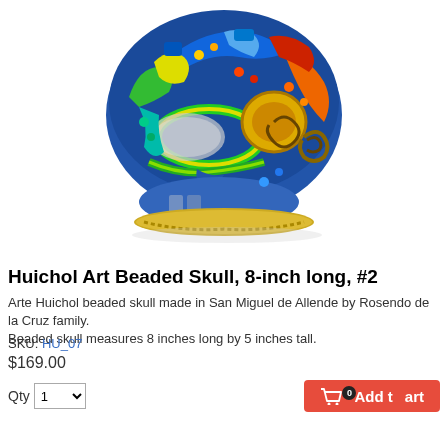[Figure (photo): Colorful Huichol art beaded skull decorated with intricate multicolored bead patterns including blues, greens, yellows, oranges, and reds, photographed on white background.]
Huichol Art Beaded Skull, 8-inch long, #2
Arte Huichol beaded skull made in San Miguel de Allende by Rosendo de la Cruz family.
Beaded skull measures 8 inches long by 5 inches tall.
SKU: HU_07
$169.00
Qty 1  Add to Cart